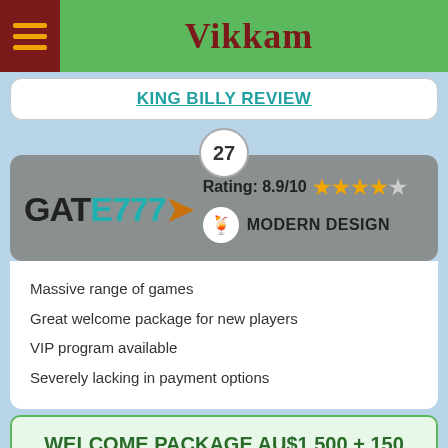Vikkam
KING BILLY REVIEW
27
[Figure (logo): GATE777 logo with teal E777 and arrow]
Rating: 8.9/10
MODERN DESIGN
Massive range of games
Great welcome package for new players
VIP program available
Severely lacking in payment options
WELCOME PACKAGE AU$1,500 + 150 FREE SPINS